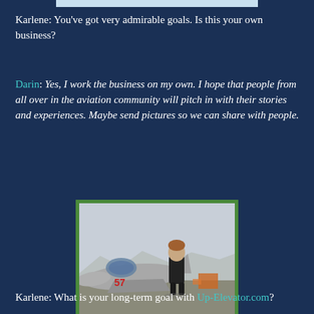Karlene: You've got very admirable goals. Is this your own business?
Darin: Yes, I work the business on my own. I hope that people from all over in the aviation community will pitch in with their stories and experiences. Maybe send pictures so we can share with people.
[Figure (photo): A person standing next to a jet aircraft on an airfield tarmac. The aircraft appears to be a silver/grey military-style jet. Ground equipment is visible in the background.]
Karlene: What is your long-term goal with Up-Elevator.com?